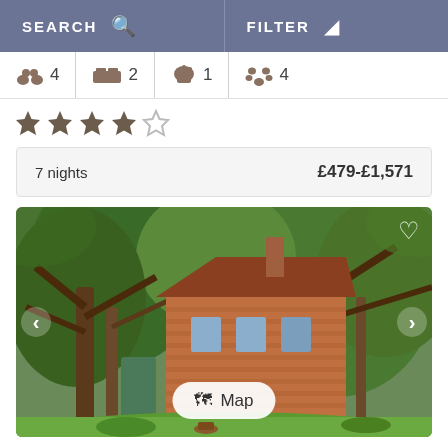SEARCH   FILTER
4  2  1  4
[Figure (other): Four filled brown stars and one empty star rating (4 out of 5 stars)]
7 nights   £479-£1,571
[Figure (photo): Exterior photo of a historic red brick English country cottage surrounded by large trees with lush green garden. A 'Map' button overlay appears at the bottom center, heart icon top right, and left/right navigation arrows on sides.]